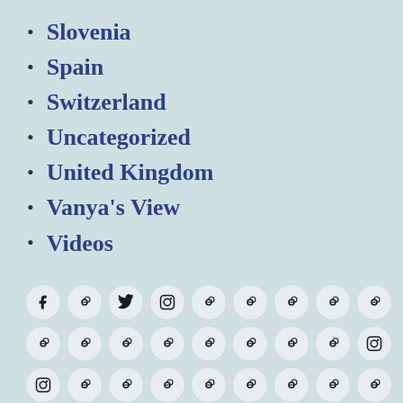Slovenia
Spain
Switzerland
Uncategorized
United Kingdom
Vanya's View
Videos
[Figure (other): Grid of social media and share icon buttons in circular containers (Facebook, share icons, Twitter, Instagram, and various share/link icons)]
DJmotortouring / Proudly powered by WordPress